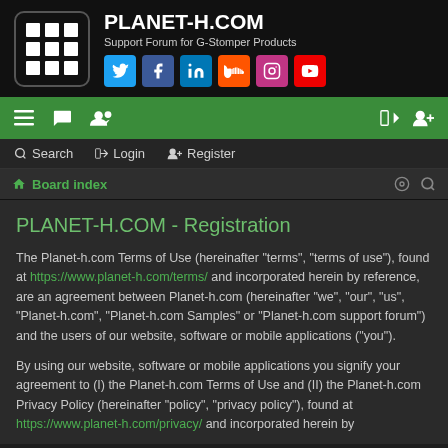PLANET-H.COM — Support Forum for G-Stomper Products
PLANET-H.COM - Registration
The Planet-h.com Terms of Use (hereinafter "terms", "terms of use"), found at https://www.planet-h.com/terms/ and incorporated herein by reference, are an agreement between Planet-h.com (hereinafter "we", "our", "us", "Planet-h.com", "Planet-h.com Samples" or "Planet-h.com support forum") and the users of our website, software or mobile applications ("you").
By using our website, software or mobile applications you signify your agreement to (I) the Planet-h.com Terms of Use and (II) the Planet-h.com Privacy Policy (hereinafter "policy", "privacy policy"), found at https://www.planet-h.com/privacy/ and incorporated herein by